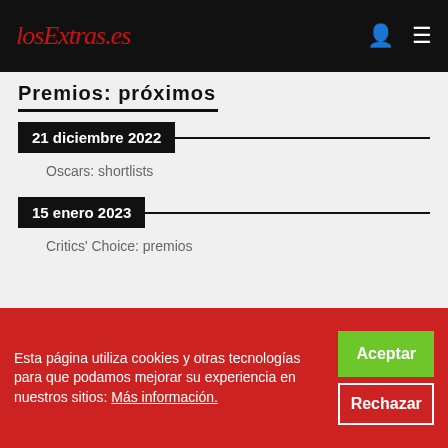losExtras.es
Premios: próximos
21 diciembre 2022
Oscars: shortlists
15 enero 2023
Critics' Choice: premios
Esta página utiliza cookies y otras tecnologías para que podamos mejorar su experiencia en nuestros sitios: Más información.